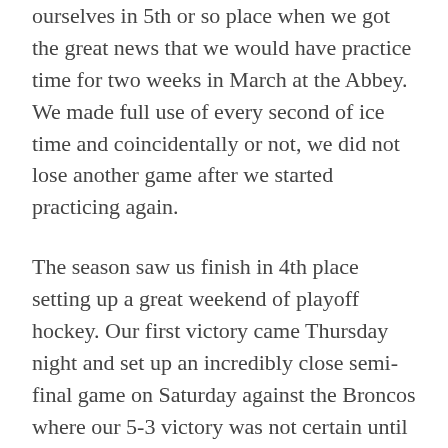ourselves in 5th or so place when we got the great news that we would have practice time for two weeks in March at the Abbey. We made full use of every second of ice time and coincidentally or not, we did not lose another game after we started practicing again.
The season saw us finish in 4th place setting up a great weekend of playoff hockey. Our first victory came Thursday night and set up an incredibly close semi-final game on Saturday against the Broncos where our 5-3 victory was not certain until the last minute or so. Sunday's final against the Blue saw a high energy, back and forth game. After a scoreless first period, Nate Marshall buried a pair of goals in the same shift. The Blues replied with the next goal, but the Whalers took the ensuing faceoff and netted one of the more beautiful goals of the season with every player on the ice moving the puck and Jaden Wright burying the goal. While the game remained tight from there, with both teams playing hard fought and tough hockey, they never got